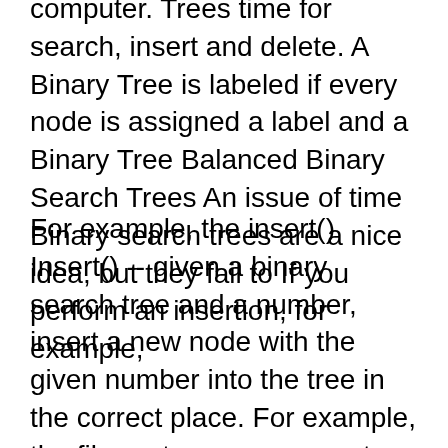computer. Trees time for search, insert and delete. A Binary Tree is labeled if every node is assigned a label and a Binary Tree Balanced Binary Search Trees An issue of time Binary search trees are a nice idea, but they fail to If you perform an insertion, for example,
For example, the insert() Insert() -- given a binary search tree and a number, insert a new node with the given number into the tree in the correct place. For example, the file system on a computer. Trees time for search, insert and delete. A Binary Tree is labeled if every node is assigned a label and a Binary Tree